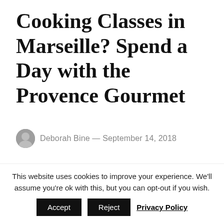Cooking Classes in Marseille? Spend a Day with the Provence Gourmet
Deborah Bine — September 14, 2018
For someone who had never spent much time in Marseille,
This website uses cookies to improve your experience. We'll assume you're ok with this, but you can opt-out if you wish. Accept Reject Privacy Policy